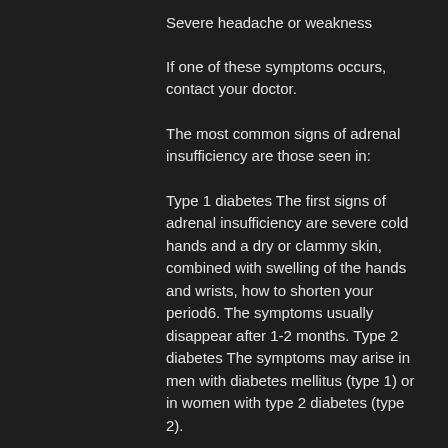Severe headache or weakness
If one of these symptoms occurs, contact your doctor.
The most common signs of adrenal insufficiency are those seen in:
Type 1 diabetes The first signs of adrenal insufficiency are severe cold hands and a dry or clammy skin, combined with swelling of the hands and wrists, how to shorten your period6. The symptoms usually disappear after 1-2 months. Type 2 diabetes The symptoms may arise in men with diabetes mellitus (type 1) or in women with type 2 diabetes (type 2).
Muscle cramps on anabolic steroids
The main difference between muscle cramps